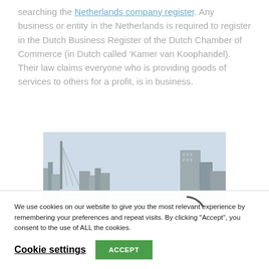…advised to check your company name by searching the Netherlands company register. Any business or entity in the Netherlands is required to register in the Dutch Business Register of the Dutch Chamber of Commerce (in Dutch called 'Kamer van Koophandel). Their law claims everyone who is providing goods of services to others for a profit, is in business.
[Figure (photo): City skyline photo of Rotterdam with modern skyscrapers against a light blue sky, partially obscured by a loading spinner overlay]
We use cookies on our website to give you the most relevant experience by remembering your preferences and repeat visits. By clicking "Accept", you consent to the use of ALL the cookies.
Cookie settings | ACCEPT